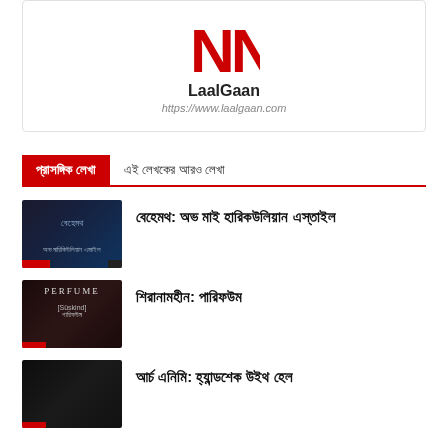[Figure (logo): LaalGaan website logo with red NN letters]
LaalGaan
https://www.laalgaan.com
প্রাসঙ্গিক লেখা
এই লেখকের আরও লেখা
[Figure (photo): Dark blue mystical article thumbnail for Behemoth article]
বেহেমথ: অভ মাই হারিকউলিয়ান এস্তাইল
[Figure (photo): Dark red Perfume article thumbnail]
শিরানামহীন: পারিফউম
[Figure (photo): Dark article thumbnail for third article]
আর্চ এনিমি: হ্যান্ডশেক উইথ হেল